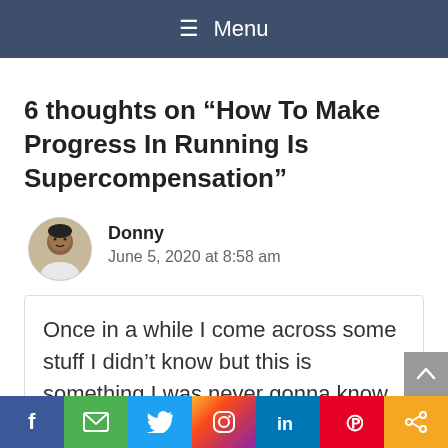≡ Menu
6 thoughts on “How To Make Progress In Running Is Supercompensation”
Donny
June 5, 2020 at 8:58 am
Once in a while I come across some stuff I didn’t know but this is something I was never gonna know in this manner of not wasn’t for you. I guess you have got to run with tactic then unlike what I’m used